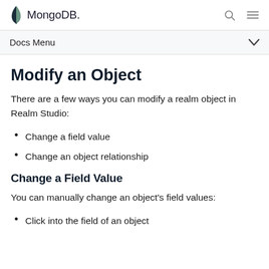MongoDB — Docs Menu
Modify an Object
There are a few ways you can modify a realm object in Realm Studio:
Change a field value
Change an object relationship
Change a Field Value
You can manually change an object's field values:
Click into the field of an object